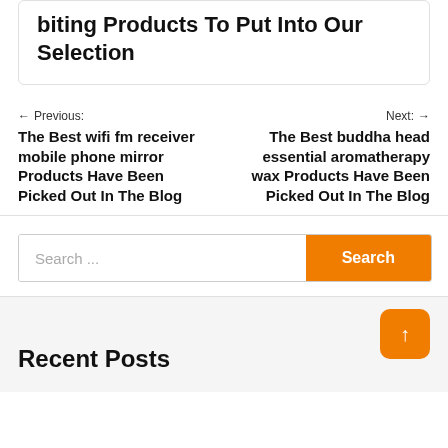biting Products To Put Into Our Selection
← Previous: The Best wifi fm receiver mobile phone mirror Products Have Been Picked Out In The Blog
Next: → The Best buddha head essential aromatherapy wax Products Have Been Picked Out In The Blog
Search ...
Recent Posts